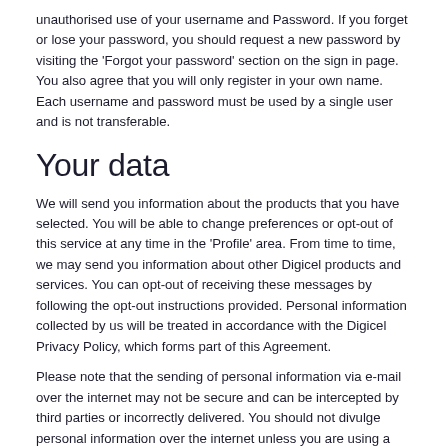unauthorised use of your username and Password. If you forget or lose your password, you should request a new password by visiting the 'Forgot your password' section on the sign in page. You also agree that you will only register in your own name. Each username and password must be used by a single user and is not transferable.
Your data
We will send you information about the products that you have selected. You will be able to change preferences or opt-out of this service at any time in the 'Profile' area. From time to time, we may send you information about other Digicel products and services. You can opt-out of receiving these messages by following the opt-out instructions provided. Personal information collected by us will be treated in accordance with the Digicel Privacy Policy, which forms part of this Agreement.
Please note that the sending of personal information via e-mail over the internet may not be secure and can be intercepted by third parties or incorrectly delivered. You should not divulge personal information over the internet unless you are using a secure or encrypted communications technology.
We shall be entitled, but not obliged, to record all communications